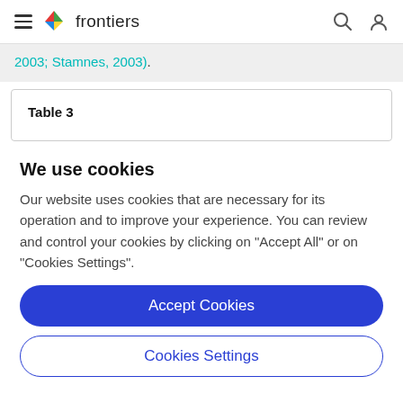frontiers
2003; Stamnes, 2003).
| Table 3 |
| --- |
We use cookies
Our website uses cookies that are necessary for its operation and to improve your experience. You can review and control your cookies by clicking on "Accept All" or on "Cookies Settings".
Accept Cookies
Cookies Settings